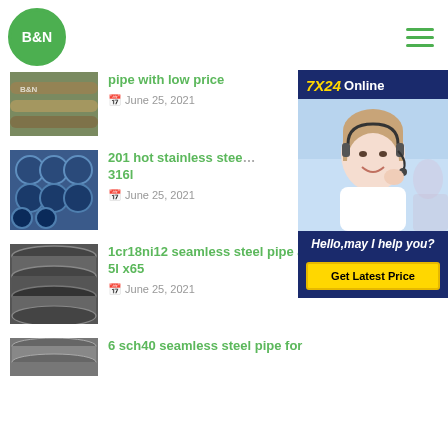B&N
[Figure (photo): Steel pipes stacked, product thumbnail]
pipe with low price
June 25, 2021
[Figure (photo): Stainless steel pipe bundles, blue-toned thumbnail]
201 hot stainless steel... 316l
June 25, 2021
[Figure (photo): Black seamless steel pipes, thumbnail]
1cr18ni12 seamless steel pipe api 5l x65
June 25, 2021
[Figure (photo): Steel pipes for 6 sch40, bottom partial thumbnail]
6 sch40 seamless steel pipe for
[Figure (photo): Customer service representative with headset, sidebar photo]
7X24 Online
Hello,may I help you?
Get Latest Price